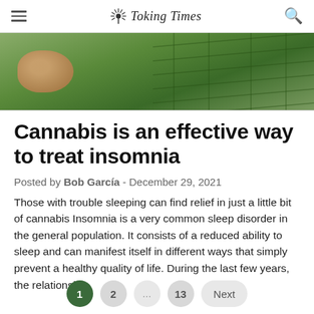Toking Times
[Figure (photo): Close-up photo of a hand holding or touching a cannabis plant with green leaves]
Cannabis is an effective way to treat insomnia
Posted by Bob García - December 29, 2021
Those with trouble sleeping can find relief in just a little bit of cannabis Insomnia is a very common sleep disorder in the general population. It consists of a reduced ability to sleep and can manifest itself in different ways that simply prevent a healthy quality of life. During the last few years, the relationship